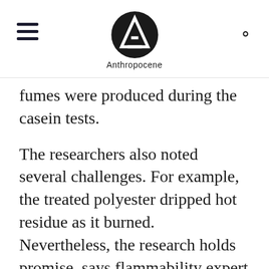Anthropocene
fumes were produced during the casein tests.
The researchers also noted several challenges. For example, the treated polyester dripped hot residue as it burned. Nevertheless, the research holds promise, says flammability expert Alexander Morgan of the University of Dayton Research Institute. Morgan, who was not affiliated with the study, says further research will need to determine how the casein-treated fabrics hold up to